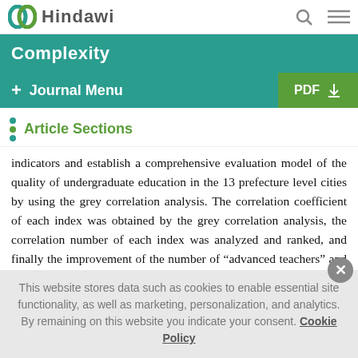Hindawi | Complexity
Article Sections
indicators and establish a comprehensive evaluation model of the quality of undergraduate education in the 13 prefecture level cities by using the grey correlation analysis. The correlation coefficient of each index was obtained by the grey correlation analysis, the correlation number of each index was analyzed and ranked, and finally the improvement of the number of “advanced teachers” and the education of 13 prefectures were reduced as much as possible.
This website stores data such as cookies to enable essential site functionality, as well as marketing, personalization, and analytics. By remaining on this website you indicate your consent. Cookie Policy